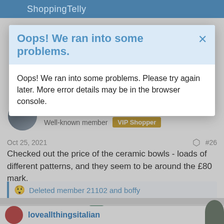ShoppingTelly
Oops! We ran into some problems.
Oops! We ran into some problems. Please try again later. More error details may be in the browser console.
Brissles
Well-known member  VIP Shopper
Oct 25, 2021  #26
Checked out the price of the ceramic bowls - loads of different patterns, and they seem to be around the £80 mark.
😲 Deleted member 21102 and boffy
[Figure (logo): Tally logo with green square icon and tally wordmark]
loveallthingsitalian